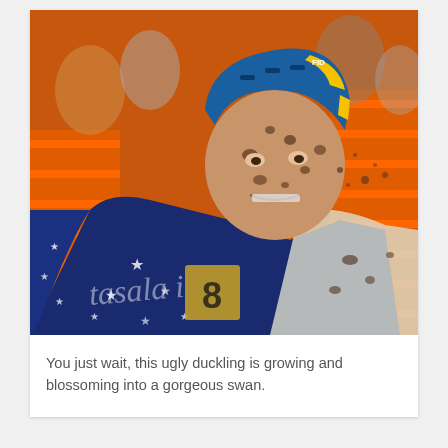[Figure (photo): A cyclocross cyclist covered in mud, leaning forward on bike, wearing a blue and yellow helmet with stars-and-stripes jersey with number 8, racing in front of orange barriers with spectators in background. A watermark reads 'tasala i...' in the lower portion.]
You just wait, this ugly duckling is growing and blossoming into a gorgeous swan.